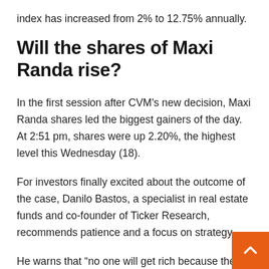index has increased from 2% to 12.75% annually.
Will the shares of Maxi Randa rise?
In the first session after CVM's new decision, Maxi Randa shares led the biggest gainers of the day. At 2:51 pm, shares were up 2.20%, the highest level this Wednesday (18).
For investors finally excited about the outcome of the case, Danilo Bastos, a specialist in real estate funds and co-founder of Ticker Research, recommends patience and a focus on strategy.
He warns that “no one will get rich because they h bought the share that could rise in the next few days. He notes, “It’s easier to find people who have built up